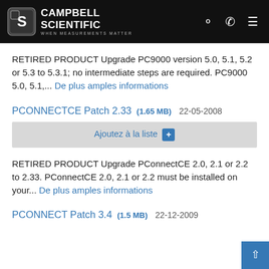Campbell Scientific — WHEN MEASUREMENTS MATTER
RETIRED PRODUCT Upgrade PC9000 version 5.0, 5.1, 5.2 or 5.3 to 5.3.1; no intermediate steps are required. PC9000 5.0, 5.1,... De plus amples informations
PCONNECTCE Patch 2.33  (1.65 MB)  22-05-2008
Ajoutez à la liste +
RETIRED PRODUCT Upgrade PConnectCE 2.0, 2.1 or 2.2 to 2.33. PConnectCE 2.0, 2.1 or 2.2 must be installed on your... De plus amples informations
PCONNECT Patch 3.4  (1.5 MB)  22-12-2009